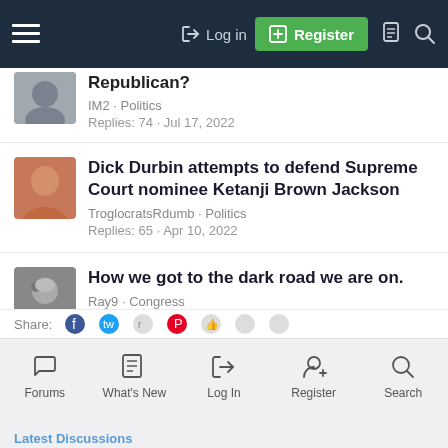Log in | Register
Republican?
IM2 · Politics
Replies: 74 · Jul 17, 2022
Dick Durbin attempts to defend Supreme Court nominee Ketanji Brown Jackson
TroglocratsRdumb · Politics
Replies: 65 · Apr 10, 2022
How we got to the dark road we are on.
Ray9 · Congress
Replies: 29 · Yesterday at 2:43 PM
Forums | What's New | Log In | Register | Search